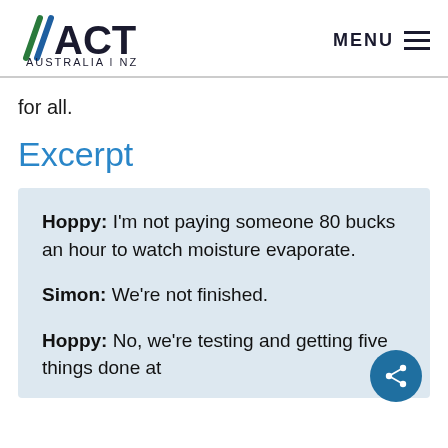ACT AUSTRALIA | NZ — MENU
for all.
Excerpt
Hoppy: I'm not paying someone 80 bucks an hour to watch moisture evaporate.

Simon: We're not finished.

Hoppy: No, we're testing and getting five things done at